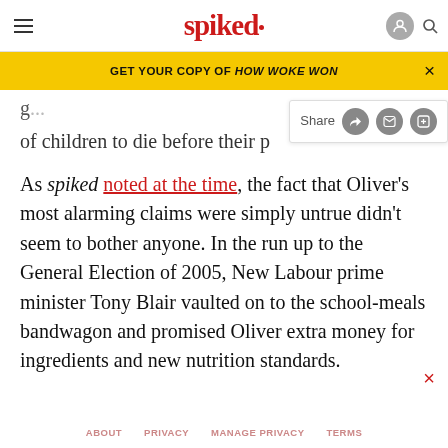spiked
GET YOUR COPY OF HOW WOKE WON
of children to die before their p
As spiked noted at the time, the fact that Oliver’s most alarming claims were simply untrue didn’t seem to bother anyone. In the run up to the General Election of 2005, New Labour prime minister Tony Blair vaulted on to the school-meals bandwagon and promised Oliver extra money for ingredients and new nutrition standards.
ABOUT   PRIVACY   MANAGE PRIVACY   TERMS